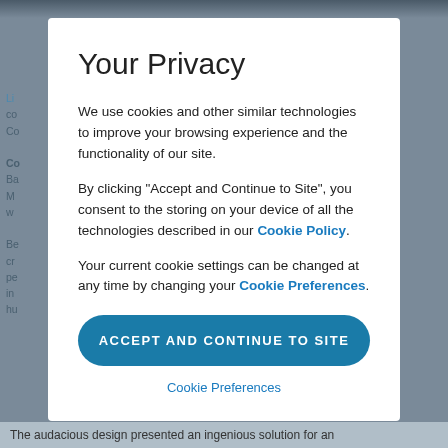Your Privacy
We use cookies and other similar technologies to improve your browsing experience and the functionality of our site.
By clicking "Accept and Continue to Site", you consent to the storing on your device of all the technologies described in our Cookie Policy.
Your current cookie settings can be changed at any time by changing your Cookie Preferences.
ACCEPT AND CONTINUE TO SITE
Cookie Preferences